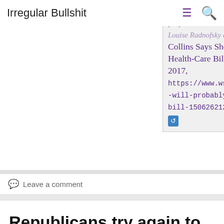Irregular Bullshit
Louise Radnofsky and Ted Mann, “Sen. Collins Says She Will Probably Vote ‘No’ on Latest GOP Health-Care Bill,” Wall Street Journal, September 24, 2017, https://www.wsj.com/articles/sen-collins-says-she-will-probably-vote-no-on-latest-gop-health-care-bill-1506262125
Leave a comment
Republicans try again to